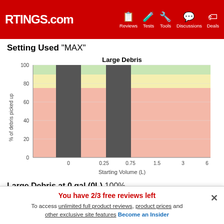RTINGS.com — Reviews, Tests, Tools, Discussions, Deals
Setting Used "MAX"
[Figure (bar-chart): Bar chart showing % of debris picked up vs Starting Volume. Bars at 0 and 0.25 reach 100%. Background has color bands: green above ~90%, yellow 75-90%, red/pink below 75%.]
Large Debris at 0 gal (0L)  100%
Large Debris at 0.07 gal (0.25L)  100%
You have 2/3 free reviews left
To access unlimited full product reviews, product prices and other exclusive site features Become an Insider